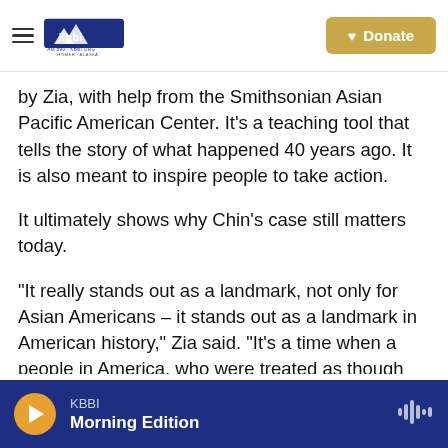KBBI AM 890 KBBI.ORG HOMER ALASKA | Donate
by Zia, with help from the Smithsonian Asian Pacific American Center. It's a teaching tool that tells the story of what happened 40 years ago. It is also meant to inspire people to take action.
It ultimately shows why Chin's case still matters today.
"It really stands out as a landmark, not only for Asian Americans – it stands out as a landmark in American history," Zia said. "It's a time when a people in America, who were treated as though they were aliens — those people stood up and said,
KBBI Morning Edition